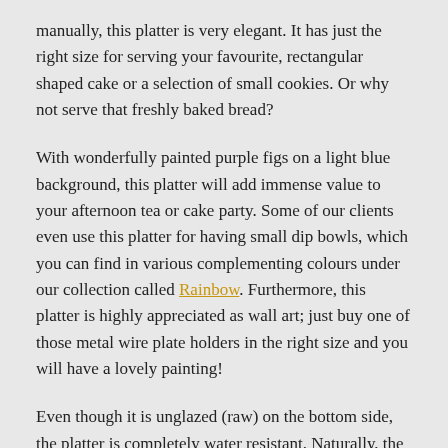manually, this platter is very elegant. It has just the right size for serving your favourite, rectangular shaped cake or a selection of small cookies. Or why not serve that freshly baked bread?
With wonderfully painted purple figs on a light blue background, this platter will add immense value to your afternoon tea or cake party. Some of our clients even use this platter for having small dip bowls, which you can find in various complementing colours under our collection called Rainbow. Furthermore, this platter is highly appreciated as wall art; just buy one of those metal wire plate holders in the right size and you will have a lovely painting!
Even though it is unglazed (raw) on the bottom side, the platter is completely water resistant. Naturally, the unglazed surface is slightly rough to the touch but, having been polished, it will not damage your furniture or wall.